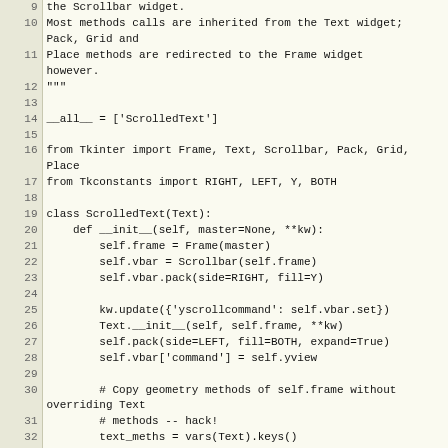[Figure (screenshot): Source code listing showing Python code for ScrolledText widget, lines 9-36, with line numbers in gutter and monospace font on light background.]